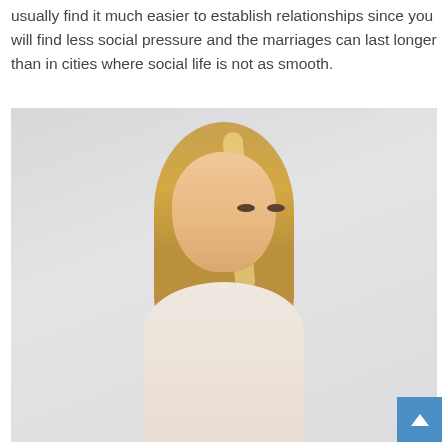usually find it much easier to establish relationships since you will find less social pressure and the marriages can last longer than in cities where social life is not as smooth.
[Figure (photo): Portrait photo of a young blonde woman with long straight hair, wearing a white top, against a light grey background, looking slightly to the side.]